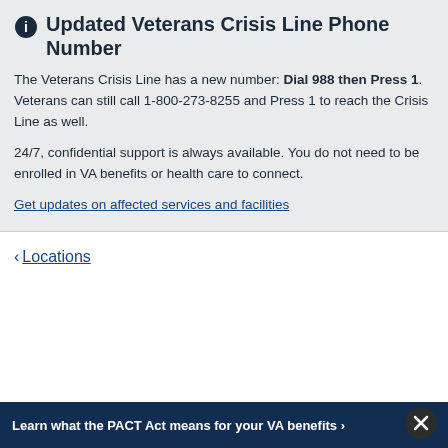Updated Veterans Crisis Line Phone Number
The Veterans Crisis Line has a new number: Dial 988 then Press 1. Veterans can still call 1-800-273-8255 and Press 1 to reach the Crisis Line as well.
24/7, confidential support is always available. You do not need to be enrolled in VA benefits or health care to connect.
Get updates on affected services and facilities
‹ Locations
Learn what the PACT Act means for your VA benefits ›